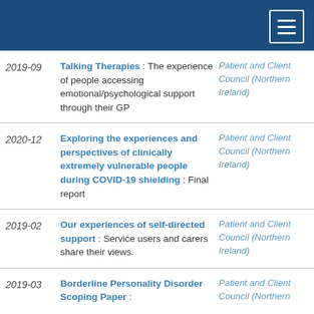Navigation header bar with menu icon
| Date | Title | Organization |
| --- | --- | --- |
| 2019-09 | Talking Therapies : The experience of people accessing emotional/psychological support through their GP | Patient and Client Council (Northern Ireland) |
| 2020-12 | Exploring the experiences and perspectives of clinically extremely vulnerable people during COVID-19 shielding : Final report | Patient and Client Council (Northern Ireland) |
| 2019-02 | Our experiences of self-directed support : Service users and carers share their views. | Patient and Client Council (Northern Ireland) |
| 2019-03 | Borderline Personality Disorder Scoping Paper : | Patient and Client Council (Northern Ireland) |